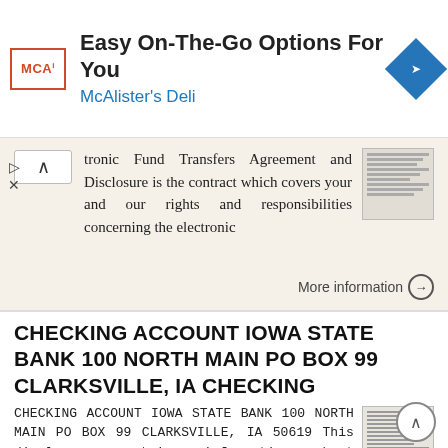[Figure (logo): McAlister's Deli advertisement banner with logo, title 'Easy On-The-Go Options For You', subtitle 'McAlister's Deli', and a blue diamond navigation icon]
tronic Fund Transfers Agreement and Disclosure is the contract which covers your and our rights and responsibilities concerning the electronic
More information →
CHECKING ACCOUNT IOWA STATE BANK 100 NORTH MAIN PO BOX 99 CLARKSVILLE, IA CHECKING
CHECKING ACCOUNT IOWA STATE BANK 100 NORTH MAIN PO BOX 99 CLARKSVILLE, IA 50619 This disclosure contains information about terms, fees, and interest rates for some of the accounts we offer